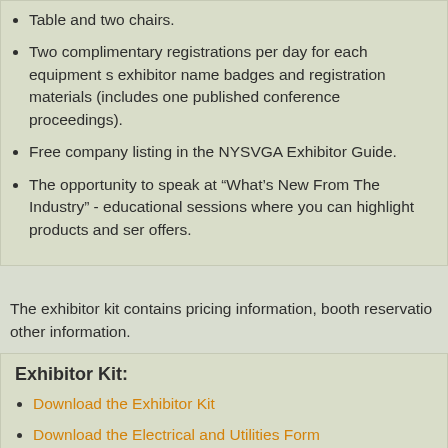Table and two chairs.
Two complimentary registrations per day for each equipment s exhibitor name badges and registration materials (includes one published conference proceedings).
Free company listing in the NYSVGA Exhibitor Guide.
The opportunity to speak at “What’s New From The Industry” - educational sessions where you can highlight products and ser offers.
The exhibitor kit contains pricing information, booth reservatio other information.
Exhibitor Kit:
Download the Exhibitor Kit
Download the Electrical and Utilities Form